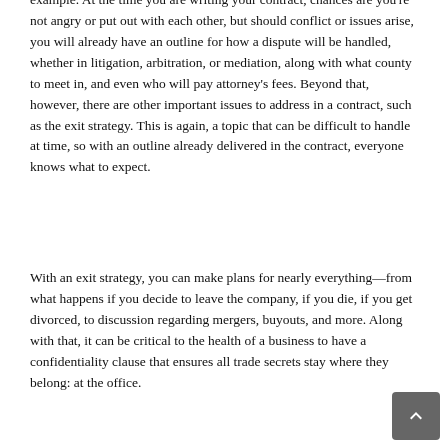example. At the time you are writing your contract, chances are you're not angry or put out with each other, but should conflict or issues arise, you will already have an outline for how a dispute will be handled, whether in litigation, arbitration, or mediation, along with what county to meet in, and even who will pay attorney's fees. Beyond that, however, there are other important issues to address in a contract, such as the exit strategy. This is again, a topic that can be difficult to handle at time, so with an outline already delivered in the contract, everyone knows what to expect.
With an exit strategy, you can make plans for nearly everything—from what happens if you decide to leave the company, if you die, if you get divorced, to discussion regarding mergers, buyouts, and more. Along with that, it can be critical to the health of a business to have a confidentiality clause that ensures all trade secrets stay where they belong: at the office.